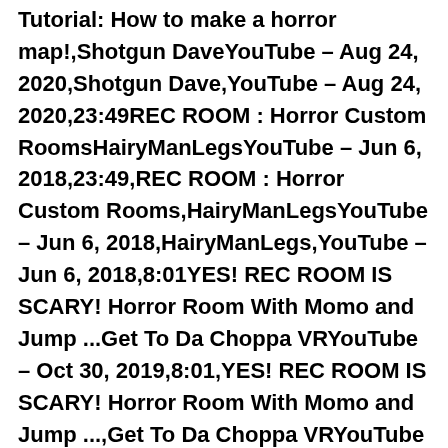Tutorial: How to make a horror map!,Shotgun DaveYouTube – Aug 24, 2020,Shotgun Dave,YouTube – Aug 24, 2020,23:49REC ROOM : Horror Custom RoomsHairyManLegsYouTube – Jun 6, 2018,23:49,REC ROOM : Horror Custom Rooms,HairyManLegsYouTube – Jun 6, 2018,HairyManLegs,YouTube – Jun 6, 2018,8:01YES! REC ROOM IS SCARY! Horror Room With Momo and Jump ...Get To Da Choppa VRYouTube – Oct 30, 2019,8:01,YES! REC ROOM IS SCARY! Horror Room With Momo and Jump ...,Get To Da Choppa VRYouTube – Oct 30, 2019,Get To Da Choppa VR,YouTube – Oct 30, 2019,best rec room horror games 2021,scariest rec room horror map,best rec room maps,rec room horror rooms,night of the